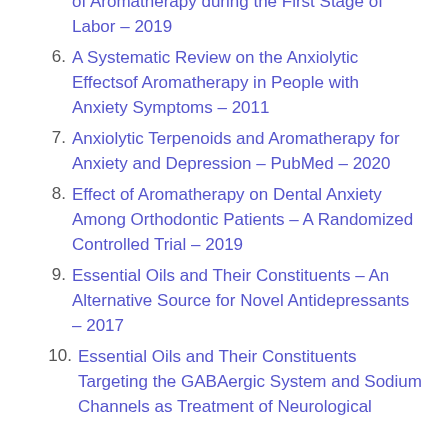of Aromatherapy during the First Stage of Labor – 2019
6. A Systematic Review on the Anxiolytic Effectsof Aromatherapy in People with Anxiety Symptoms – 2011
7. Anxiolytic Terpenoids and Aromatherapy for Anxiety and Depression – PubMed – 2020
8. Effect of Aromatherapy on Dental Anxiety Among Orthodontic Patients – A Randomized Controlled Trial – 2019
9. Essential Oils and Their Constituents – An Alternative Source for Novel Antidepressants – 2017
10. Essential Oils and Their Constituents Targeting the GABAergic System and Sodium Channels as Treatment of Neurological